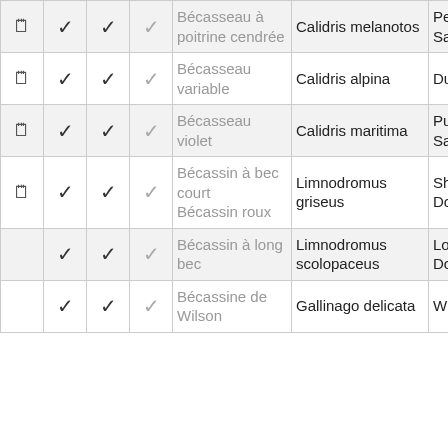|  |  |  |  | Français | Scientifique | Anglais |
| --- | --- | --- | --- | --- | --- | --- |
| 🗒 | ✓ | ✓ | ✓ | Bécasseau à poitrine cendrée | Calidris melanotos | Pectoral Sandpiper |
| 🗒 | ✓ | ✓ | ✓ | Bécasseau variable | Calidris alpina | Dunlin |
| 🗒 | ✓ | ✓ | ✓ | Bécasseau violet | Calidris maritima | Purple Sandpiper |
| 🗒 | ✓ | ✓ | ✓ | Bécassin à bec court / Bécassin roux | Limnodromus griseus | Short-billed Dowitcher |
|  | ✓ | ✓ | ✓ | Bécassin à long bec | Limnodromus scolopaceus | Long-billed Dowitcher |
|  | ✓ | ✓ | ✓ | Bécassine de Wilson | Gallinago delicata | Wilson's Snipe |
Les cookies nous permettent de personnaliser le contenu du site et de réaliser des statistiques de visites anonymes.
En cliquant sur "J'accepte", vous acceptez l'utilisation de traceurs (cookies) et mémoriserez les choix de navigation. En savoir plus